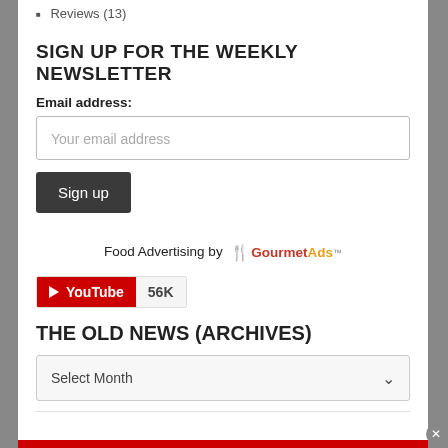Reviews (13)
SIGN UP FOR THE WEEKLY NEWSLETTER
Email address:
Your email address
Sign up
Food Advertising by GourmetAds
[Figure (logo): YouTube subscribe button showing 56K subscribers]
THE OLD NEWS (ARCHIVES)
Select Month